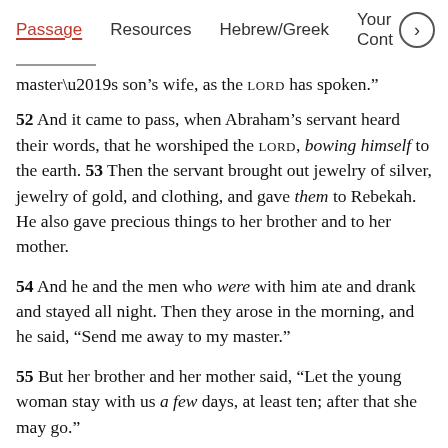Passage | Resources | Hebrew/Greek | Your Cont >
master’s son’s wife, as the LORD has spoken.”
52 And it came to pass, when Abraham’s servant heard their words, that he worshiped the LORD, bowing himself to the earth. 53 Then the servant brought out jewelry of silver, jewelry of gold, and clothing, and gave them to Rebekah. He also gave precious things to her brother and to her mother.
54 And he and the men who were with him ate and drank and stayed all night. Then they arose in the morning, and he said, “Send me away to my master.”
55 But her brother and her mother said, “Let the young woman stay with us a few days, at least ten; after that she may go.”